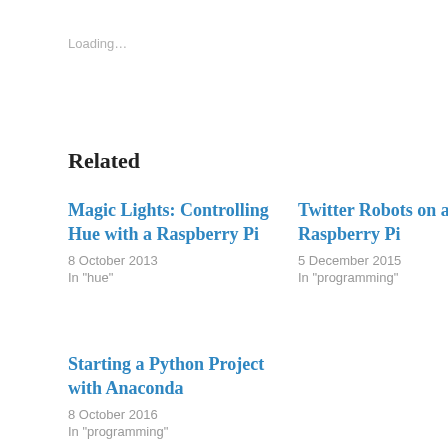Loading…
Related
Magic Lights: Controlling Hue with a Raspberry Pi
8 October 2013
In "hue"
Twitter Robots on a Raspberry Pi
5 December 2015
In "programming"
Starting a Python Project with Anaconda
8 October 2016
In "programming"